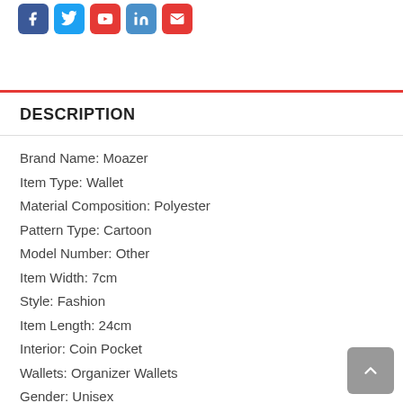[Figure (illustration): Row of five social media icon buttons: Facebook (dark blue), Twitter (light blue), YouTube (red), LinkedIn (blue), Email/Pinterest (red)]
DESCRIPTION
Brand Name: Moazer
Item Type: Wallet
Material Composition: Polyester
Pattern Type: Cartoon
Model Number: Other
Item Width: 7cm
Style: Fashion
Item Length: 24cm
Interior: Coin Pocket
Wallets: Organizer Wallets
Gender: Unisex
Decoration: None
Item Height: 11cm